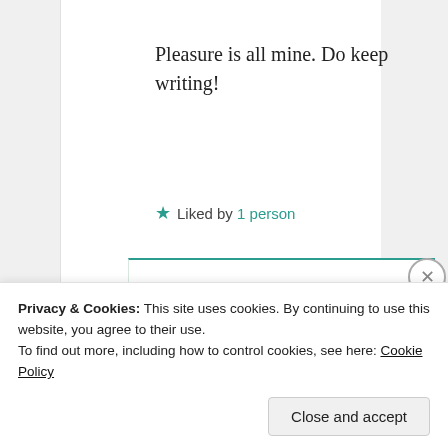Pleasure is all mine. Do keep writing!
★ Liked by 1 person
Suma Reddy
6th Jul 2021 at 7:34 pm
Privacy & Cookies: This site uses cookies. By continuing to use this website, you agree to their use.
To find out more, including how to control cookies, see here: Cookie Policy
Close and accept